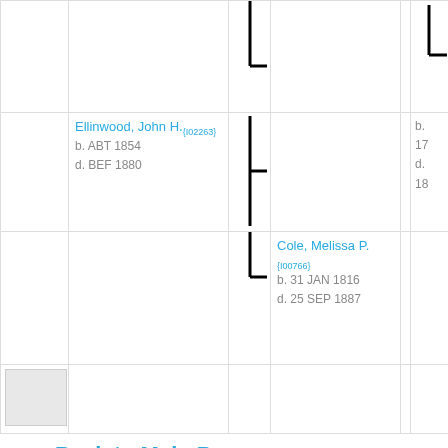| [photo] | Ellinwood, John H.{I02263}
b. ABT 1854
d. BEF 1880 | [connector] |  |  | [connector-right] | b.
17
d.
18 |
| [photo] |  | [connector] | Cole, Melissa P.{I00766}
b. 31 JAN 1816
d. 25 SEP 1887 |  |  |
| [photo] |  |  |  |  |  |
Back to Main Page
| [photo] |  |  |  | [connector-right] |  |
| [photo] |  |  | Chamberlain, Luman |  |  |